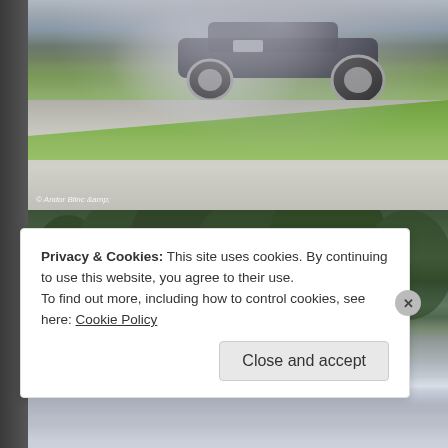[Figure (photo): A drifting car on a race track with smoke coming from the rear tires. Green grass visible in the foreground, asphalt track surface with skid marks. Photo credit watermark in bottom left corner.]
[Figure (photo): A second motorsport photo showing green trees/forest in the background with heavy white smoke in the foreground, likely from tire burnout on a race track.]
Privacy & Cookies: This site uses cookies. By continuing to use this website, you agree to their use.
To find out more, including how to control cookies, see here: Cookie Policy
Close and accept